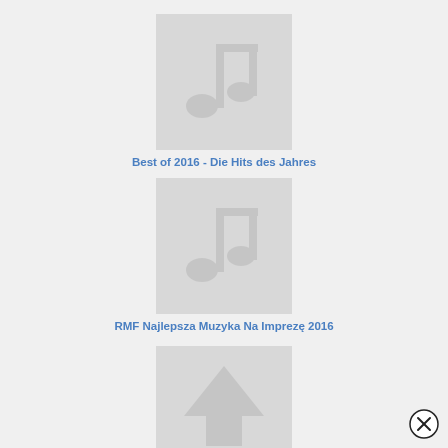[Figure (illustration): Album placeholder thumbnail for 'Best of 2016 - Die Hits des Jahres' with music note icon on grey background]
Best of 2016 - Die Hits des Jahres
[Figure (illustration): Album placeholder thumbnail for 'RMF Najlepsza Muzyka Na Imprezę 2016' with music note icon on grey background]
RMF Najlepsza Muzyka Na Imprezę 2016
[Figure (illustration): Partial album placeholder thumbnail at page bottom, partially cut off]
[Figure (illustration): Close/dismiss button (X in circle) in lower-right corner]